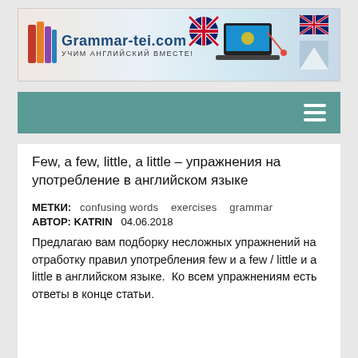[Figure (illustration): Grammar-tei.com website banner with logo showing books, site title 'Grammar-tei.com', subtitle 'УЧИМ АНГЛИЙСКИЙ ВМЕСТЕ!', decorative elements including a laptop, compass, UK flags.]
[Figure (other): Teal navigation bar with hamburger menu icon (three white horizontal lines) on the right.]
Few, a few, little, a little – упражнения на употребление в английском языке
МЕТКИ:   confusing words   exercises   grammar
АВТОР: KATRIN   04.06.2018
Предлагаю вам подборку несложных упражнений на отработку правил употребления few и а few / little и а little в английском языке.  Ко всем упражнениям есть ответы в конце статьи.